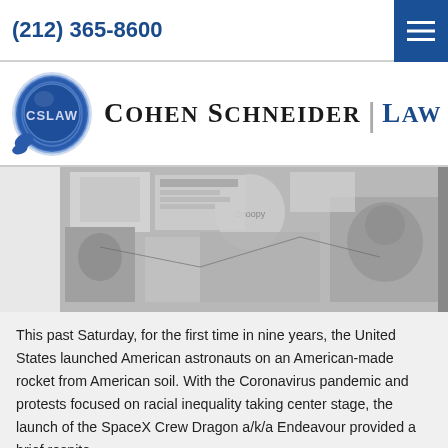(212) 365-8600
[Figure (logo): Cohen Schneider Law firm logo with blue wax seal bearing CSLAW initials and firm name text]
[Figure (photo): Black and white photo of a bulletin board or collage with various papers, photos, and images including Snoopy and a person's face]
This past Saturday, for the first time in nine years, the United States launched American astronauts on an American-made rocket from American soil.  With the Coronavirus pandemic and protests focused on racial inequality taking center stage, the launch of the SpaceX Crew Dragon a/k/a Endeavour provided a brief respite...